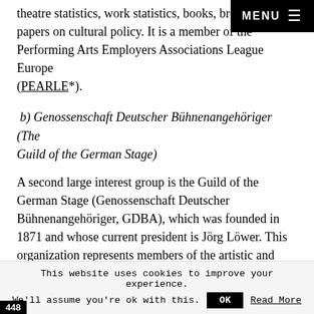theatre statistics, work statistics, books, brochures, papers on cultural policy. It is a member of the Performing Arts Employers Associations League Europe (PEARLE*).
b) Genossenschaft Deutscher Bühnenangehöriger (The Guild of the German Stage)
A second large interest group is the Guild of the German Stage (Genossenschaft Deutscher Bühnenangehöriger, GDBA), which was founded in 1871 and whose current president is Jörg Löwer. This organization represents members of the artistic and artistic-technical sector. Organized into seven state unions, the GDBA covers the career fields of solo, dance, opera chorus, and equipment, technology, and management (ATuV). Specific types of
This website uses cookies to improve your experience. We'll assume you're ok with this. OK Read More
448